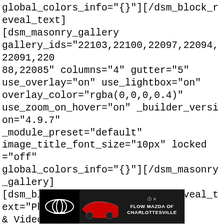global_colors_info="{}"][/dsm_block_reveal_text]
[dsm_masonry_gallery
gallery_ids="22103,22100,22097,22094,22091,22088,22085" columns="4" gutter="5"
use_overlay="on" use_lightbox="on"
overlay_color="rgba(0,0,0,0.4)"
use_zoom_on_hover="on" _builder_version="4.9.7"
_module_preset="default"
image_title_font_size="10px" locked="off"
global_colors_info="{}"][/dsm_masonry_gallery]
[dsm_block_reveal_text block_reveal_text="Photos & Videos" heading_html_tag="h4"
block_reveal_color="#edf000"
block_reveal_delay="0.5" _builder_version="4.9.2"
_module_preset="default" header_font="||||||||"
header_text_align="center"
[Figure (other): Advertisement banner for Flow Mazda of Charlottesville with Mazda logo on black background and car image]